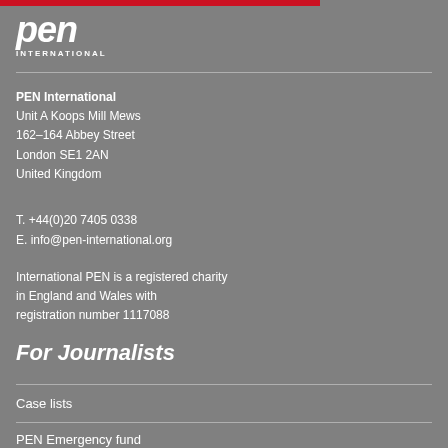[Figure (logo): PEN International logo — white bold italic 'pen' text with 'INTERNATIONAL' subtitle on grey background with red bar above]
PEN International
Unit A Koops Mill Mews
162–164 Abbey Street
London SE1 2AN
United Kingdom
T. +44(0)20 7405 0338
E. info@pen-international.org
International PEN is a registered charity in England and Wales with registration number 1117088
For Journalists
Case lists
PEN Emergency fund